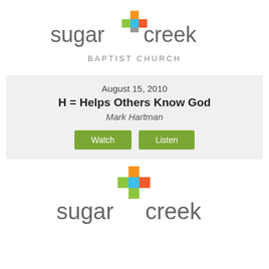[Figure (logo): Sugar Creek Baptist Church logo with colorful cross and text]
August 15, 2010
H = Helps Others Know God
Mark Hartman
[Figure (logo): Sugar Creek logo mark with colorful cross squares and 'sugar creek' text]